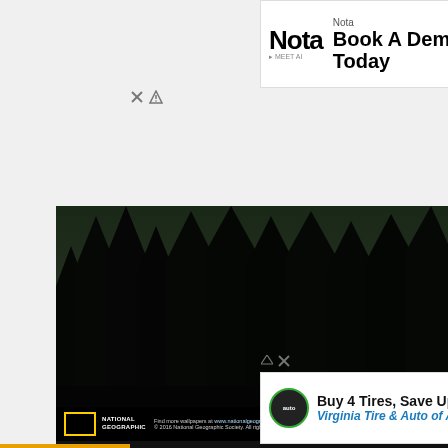[Figure (screenshot): Nota advertisement banner: 'Book A Demo Today' with Open button]
[Figure (screenshot): National Geographic dark forest wallpaper YouTube channel banner for ScoopWhoop with Subscribe to ScoopWhoop YouTube 2M button]
[Figure (screenshot): Virginia Tire & Auto of Ashburn advertisement: Buy 4 Tires, Save Up To $110]